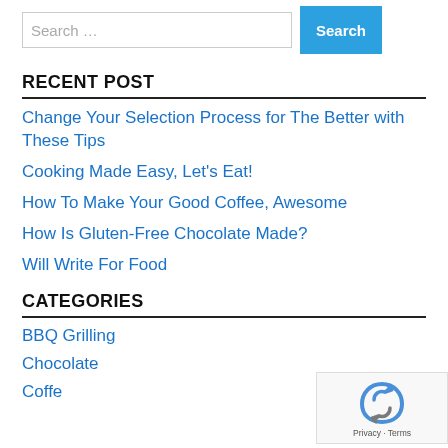RECENT POST
Change Your Selection Process for The Better with These Tips
Cooking Made Easy, Let's Eat!
How To Make Your Good Coffee, Awesome
How Is Gluten-Free Chocolate Made?
Will Write For Food
CATEGORIES
BBQ Grilling
Chocolate
Coffee